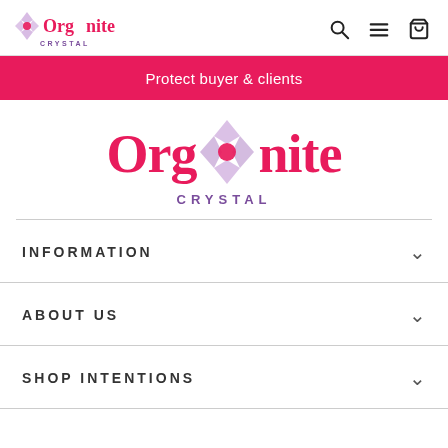Orgonite CRYSTAL — navigation header with search, menu, and cart icons
Protect buyer & clients
[Figure (logo): Orgonite Crystal logo — large red text with purple crystal graphic and CRYSTAL subtitle]
INFORMATION
ABOUT US
SHOP INTENTIONS